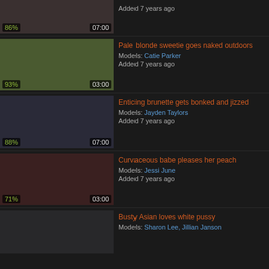[Figure (screenshot): Partial video thumbnail row 1 with 86% rating and 07:00 duration, Added 7 years ago]
[Figure (screenshot): Video thumbnail: Pale blonde sweetie goes naked outdoors, Models: Catie Parker, 93%, 03:00, Added 7 years ago]
[Figure (screenshot): Video thumbnail: Enticing brunette gets bonked and jizzed, Models: Jayden Taylors, 88%, 07:00, Added 7 years ago]
[Figure (screenshot): Video thumbnail: Curvaceous babe pleases her peach, Models: Jessi June, 71%, 03:00, Added 7 years ago]
[Figure (screenshot): Partial video thumbnail: Busty Asian loves white pussy, Models: Sharon Lee, Jillian Janson]